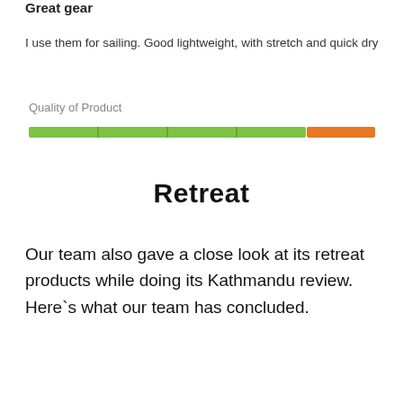Great gear
I use them for sailing. Good lightweight, with stretch and quick dry
Quality of Product
[Figure (other): A horizontal progress bar showing Quality of Product rating. The bar is mostly green (approximately 80%) with an orange segment at the right end (approximately 20%).]
Retreat
Our team also gave a close look at its retreat products while doing its Kathmandu review. Here`s what our team has concluded.